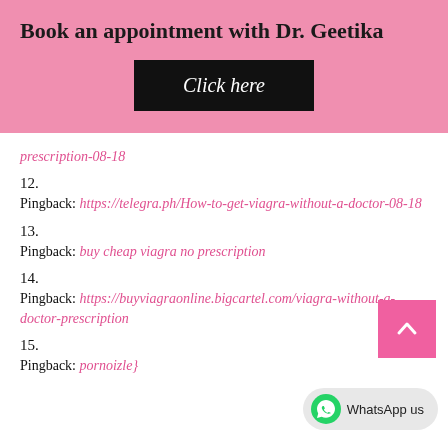Book an appointment with Dr. Geetika
[Figure (other): Black button with italic text 'Click here']
prescription-08-18
12.
Pingback: https://telegra.ph/How-to-get-viagra-without-a-doctor-08-18
13.
Pingback: buy cheap viagra no prescription
14.
Pingback: https://buyviagraonline.bigcartel.com/viagra-without-a-doctor-prescription
15.
Pingback: pornoizle}